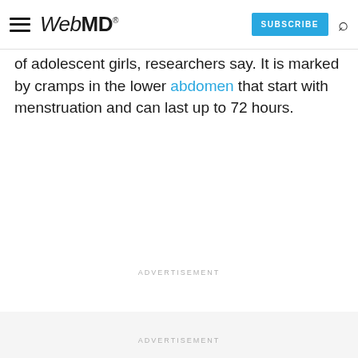WebMD — SUBSCRIBE
of adolescent girls, researchers say. It is marked by cramps in the lower abdomen that start with menstruation and can last up to 72 hours.
ADVERTISEMENT
ADVERTISEMENT